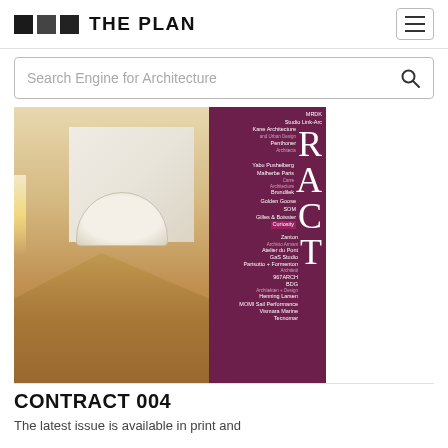THE PLAN
Search Engine for Architecture
[Figure (photo): Magazine cover of THE PLAN CONTRACT 004, showing a luxury interior staircase in warm wood tones on the left, a purple sidebar with large letters R A C T and a list of architect/studio names including MRDK, Studio Link-Arc, Kane Architecture and Urban Design, Penthoner Architects, Yabu Pushelberg, Malherbe Paris, Carre Architecture, Brundilek, Golden Goose, SOM, Gilles & Boissier, Curiosity, Zanton Archivio Armani, Atelier du Pont, GaS Studio, Parisotto + Formenton Architetti, 967ARCH, BDG Architekten + Design, Henning Larsen, MOMI Sail Performance, Vismara Marine, Tecnomar]
CONTRACT 004
The latest issue is available in print and